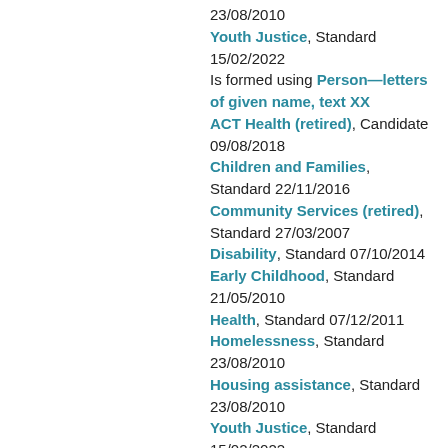23/08/2010
Youth Justice, Standard 15/02/2022
Is formed using Person—letters of given name, text XX
ACT Health (retired), Candidate 09/08/2018
Children and Families, Standard 22/11/2016
Community Services (retired), Standard 27/03/2007
Disability, Standard 07/10/2014
Early Childhood, Standard 21/05/2010
Health, Standard 07/12/2011
Homelessness, Standard 23/08/2010
Housing assistance, Standard 23/08/2010
Youth Justice, Standard 15/02/2022
Is formed using Person—sex